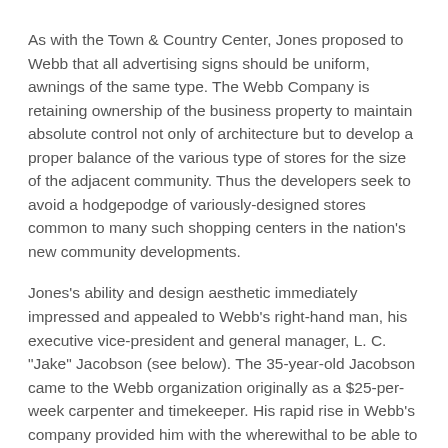As with the Town & Country Center, Jones proposed to Webb that all advertising signs should be uniform, awnings of the same type. The Webb Company is retaining ownership of the business property to maintain absolute control not only of architecture but to develop a proper balance of the various type of stores for the size of the adjacent community. Thus the developers seek to avoid a hodgepodge of variously-designed stores common to many such shopping centers in the nation's new community developments.
Jones's ability and design aesthetic immediately impressed and appealed to Webb's right-hand man, his executive vice-president and general manager, L. C. "Jake" Jacobson (see below). The 35-year-old Jacobson came to the Webb organization originally as a $25-per-week carpenter and timekeeper. His rapid rise in Webb's company provided him with the wherewithal to be able to hire Jones to design his personal residence in Phoenix immediately upon his completion of his Pueblo Gardens commission.